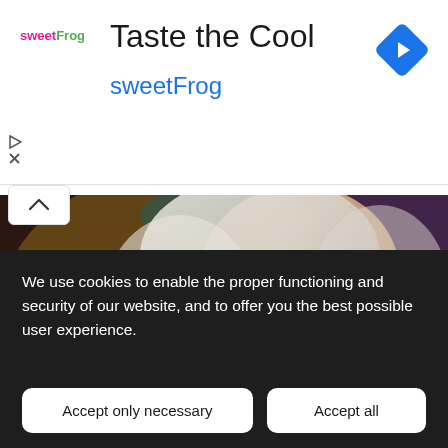[Figure (screenshot): SweetFrog advertisement banner with logo, title 'Taste the Cool', subtitle 'sweetFrog', navigation arrow icon, play and close controls]
[Figure (illustration): Fantasy digital art illustration of a woman with long white-silver hair, teal eyes, ornate gold jewelry and earrings, looking upward against a colorful background]
We use cookies to enable the proper functioning and security of our website, and to offer you the best possible user experience.
Accept only necessary
Accept all